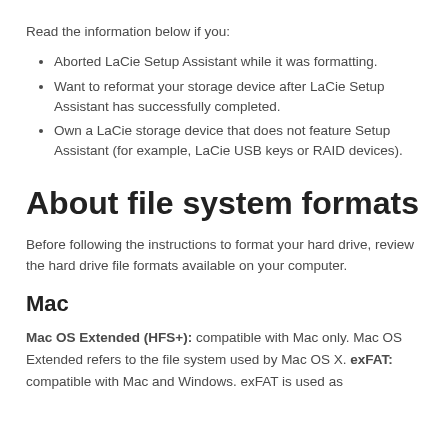Read the information below if you:
Aborted LaCie Setup Assistant while it was formatting.
Want to reformat your storage device after LaCie Setup Assistant has successfully completed.
Own a LaCie storage device that does not feature Setup Assistant (for example, LaCie USB keys or RAID devices).
About file system formats
Before following the instructions to format your hard drive, review the hard drive file formats available on your computer.
Mac
Mac OS Extended (HFS+): compatible with Mac only. Mac OS Extended refers to the file system used by Mac OS X. exFAT: compatible with Mac and Windows. exFAT is used as